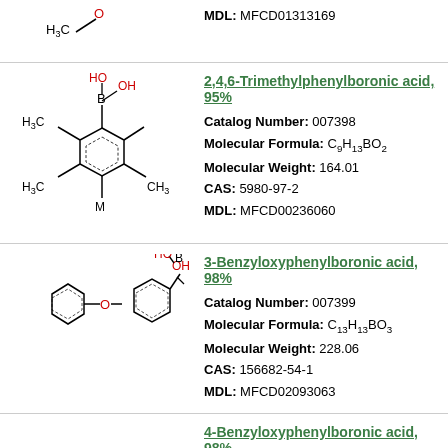[Figure (chemical-structure): Top partial chemical structure, H3C group visible at top left]
MDL: MFCD01313169
[Figure (chemical-structure): 2,4,6-Trimethylphenylboronic acid structure with H3C groups and B(OH)2 group]
2,4,6-Trimethylphenylboronic acid, 95%
Catalog Number: 007398
Molecular Formula: C9H13BO2
Molecular Weight: 164.01
CAS: 5980-97-2
MDL: MFCD00236060
[Figure (chemical-structure): 3-Benzyloxyphenylboronic acid structure with benzyl ether and B(OH)2 group]
3-Benzyloxyphenylboronic acid, 98%
Catalog Number: 007399
Molecular Formula: C13H13BO3
Molecular Weight: 228.06
CAS: 156682-54-1
MDL: MFCD02093063
4-Benzyloxyphenylboronic acid, 98%